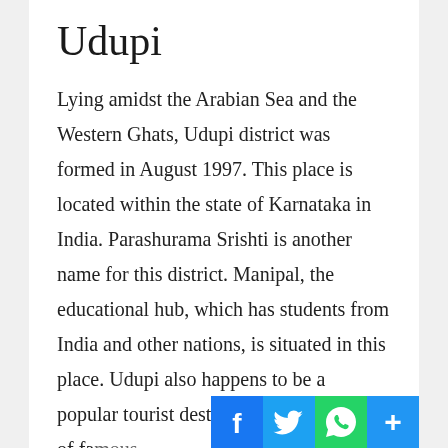Udupi
Lying amidst the Arabian Sea and the Western Ghats, Udupi district was formed in August 1997. This place is located within the state of Karnataka in India. Parashurama Srishti is another name for this district. Manipal, the educational hub, which has students from India and other nations, is situated in this place. Udupi also happens to be a popular tourist destination with a number of famous